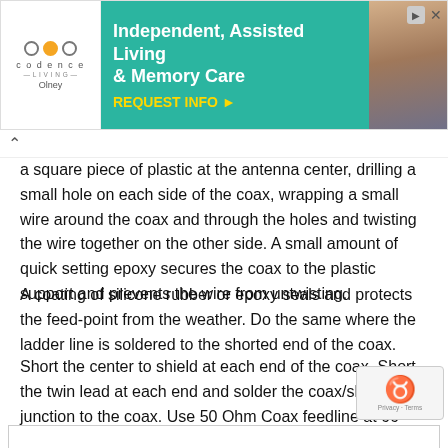[Figure (screenshot): Advertisement banner for Codence Living (Olney) — Independent, Assisted Living & Memory Care with REQUEST INFO button, teal background, and photo of elderly couple]
a square piece of plastic at the antenna center, drilling a small hole on each side of the coax, wrapping a small wire around the coax and through the holes and twisting the wire together on the other side. A small amount of quick setting epoxy secures the coax to the plastic support and prevents the wire from untwisting.
A coating of silicone rubber or epoxy seals and protects the feed-point from the weather. Do the same where the ladder line is soldered to the shorted end of the coax.
Short the center to shield at each end of the coax. Short the twin lead at each end and solder the coax/shield junction to the coax. Use 50 Ohm Coax feedline at 66 feet long.